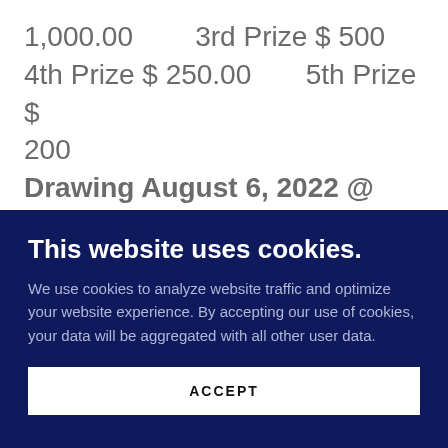1,000.00        3rd Prize $ 500
4th Prize $ 250.00        5th Prize $ 200
Drawing August 6, 2022 @ 9:00PM
Tickets available at the Knights of
This website uses cookies.
We use cookies to analyze website traffic and optimize your website experience. By accepting our use of cookies, your data will be aggregated with all other user data.
ACCEPT